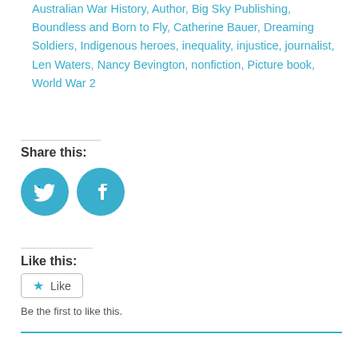Australian War History, Author, Big Sky Publishing, Boundless and Born to Fly, Catherine Bauer, Dreaming Soldiers, Indigenous heroes, inequality, injustice, journalist, Len Waters, Nancy Bevington, nonfiction, Picture book, World War 2
Share this:
[Figure (other): Two circular social media share buttons: Twitter (bird icon) and Facebook (f icon), both in solid blue (#3aaecd)]
Like this:
Like
Be the first to like this.